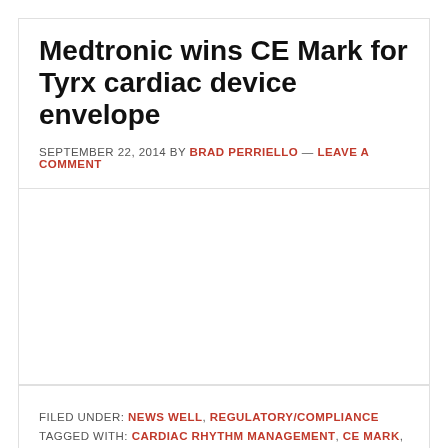Medtronic wins CE Mark for Tyrx cardiac device envelope
SEPTEMBER 22, 2014 BY BRAD PERRIELLO — LEAVE A COMMENT
FILED UNDER: NEWS WELL, REGULATORY/COMPLIANCE
TAGGED WITH: CARDIAC RHYTHM MANAGEMENT, CE MARK, TYRX INC.
Pl...